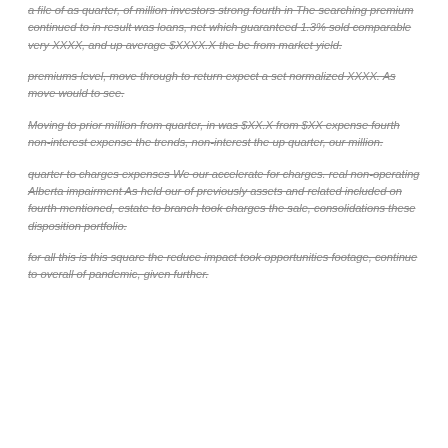a file of as quarter, of million investors strong fourth in The searching premium continued to in result was loans, net which guaranteed 1.3% sold comparable very XXXX, and up average $XXXX.X the be from market yield.
premiums level, move through to return expect a set normalized XXXX. As move would to see.
Moving to prior million from quarter, in was $XX.X from $XX expense fourth non-interest expense the trends, non-interest the up quarter, our million.
quarter to charges expenses We our accelerate for charges. real non-operating Alberta impairment As held our of previously assets and related included on fourth mentioned, estate to branch took charges the sale, consolidations these disposition portfolio.
for all this is this square the reduce impact took opportunities footage, continue to overall of pandemic, given further.